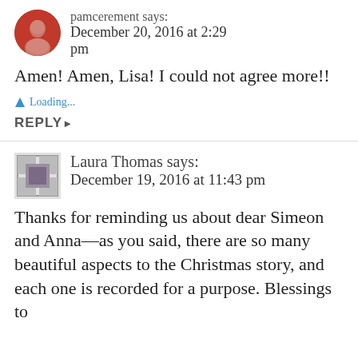pamcerement says: December 20, 2016 at 2:29 pm
Amen! Amen, Lisa! I could not agree more!!
Loading...
REPLY
Laura Thomas says: December 19, 2016 at 11:43 pm
Thanks for reminding us about dear Simeon and Anna—as you said, there are so many beautiful aspects to the Christmas story, and each one is recorded for a purpose. Blessings to